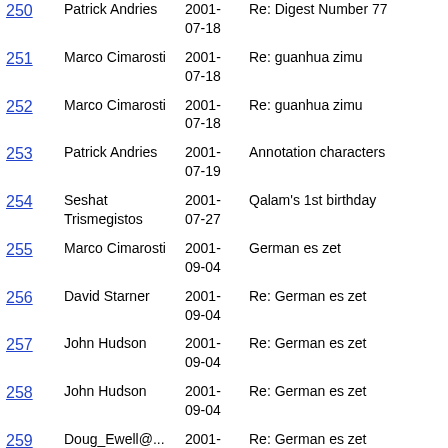| # | Author | Date | Subject |
| --- | --- | --- | --- |
| 250 | Patrick Andries | 2001-07-18 | Re: Digest Number 77 |
| 251 | Marco Cimarosti | 2001-07-18 | Re: guanhua zimu |
| 252 | Marco Cimarosti | 2001-07-18 | Re: guanhua zimu |
| 253 | Patrick Andries | 2001-07-19 | Annotation characters |
| 254 | Seshat Trismegistos | 2001-07-27 | Qalam's 1st birthday |
| 255 | Marco Cimarosti | 2001-09-04 | German es zet |
| 256 | David Starner | 2001-09-04 | Re: German es zet |
| 257 | John Hudson | 2001-09-04 | Re: German es zet |
| 258 | John Hudson | 2001-09-04 | Re: German es zet |
| 259 | Doug_Ewell@... | 2001-09-04 | Re: German es zet |
| 260 | Marco Cimarosti | 2001-09-11 | [OT!?] This is pure madness |
| 261 | Clea Saal | 2001-09-13 | OT- Something doesn't add up!!! (on the attacks) |